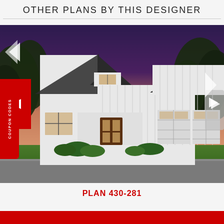OTHER PLANS BY THIS DESIGNER
[Figure (photo): Exterior rendering of a modern farmhouse style home with white vertical board-and-batten siding, dark roof, multiple gables, covered front porch, and two-car garage, photographed at dusk with landscaping in foreground. Red navigation arrows on left and right sides, COUPON CODES tab on left edge.]
PLAN 430-281